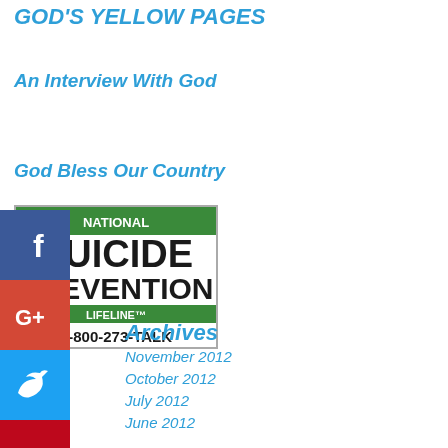GOD'S YELLOW PAGES
An Interview With God
God Bless Our Country
[Figure (infographic): National Suicide Prevention Lifeline logo with phone number 1-800-273-TALK]
[Figure (infographic): Social media icons: Facebook, Google+, Twitter, Pinterest, Blogger, YouTube stacked vertically]
Archives
November 2012
October 2012
July 2012
June 2012
March 2012
February 2012
January 2012